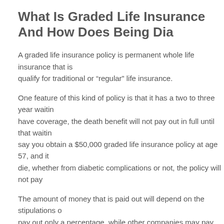What Is Graded Life Insurance And How Does Being Dia...
A graded life insurance policy is permanent whole life insurance that is... qualify for traditional or “regular” life insurance.
One feature of this kind of policy is that it has a two to three year waitin... have coverage, the death benefit will not pay out in full until that waitin... say you obtain a $50,000 graded life insurance policy at age 57, and it... die, whether from diabetic complications or not, the policy will not pay...
The amount of money that is paid out will depend on the stipulations o... pay out only a percentage, while other companies may pay out a retur... into the policy.
Another feature of this policy is the cost – it is much higher than a trad...
If I Can’t Qualify For Traditional Coverage Should I Get...
Although having a life insurance policy in force can provide peace of m... death, the cost is something to consider if you are faced with the optio...